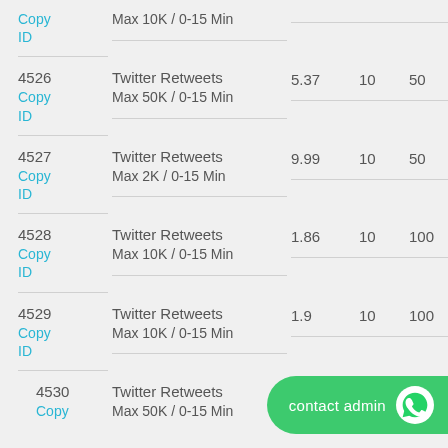| ID | Description | Rate | Min | Max |
| --- | --- | --- | --- | --- |
| Copy ID | Max 10K / 0-15 Min |  |  |  |
| 4526
Copy ID | Twitter Retweets
Max 50K / 0-15 Min | 5.37 | 10 | 50 |
| 4527
Copy ID | Twitter Retweets
Max 2K / 0-15 Min | 9.99 | 10 | 50 |
| 4528
Copy ID | Twitter Retweets
Max 10K / 0-15 Min | 1.86 | 10 | 100 |
| 4529
Copy ID | Twitter Retweets
Max 10K / 0-15 Min | 1.9 | 10 | 100 |
| 4530
Copy | Twitter Retweets
Max 50K / 0-15 Min |  |  |  |
[Figure (other): WhatsApp contact admin button]